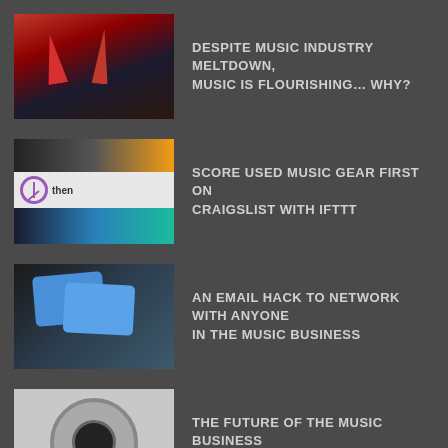DESPITE MUSIC INDUSTRY MELTDOWN, MUSIC IS FLOURISHING… WHY?
SCORE USED MUSIC GEAR FIRST ON CRAIGSLIST WITH IFTTT
AN EMAIL HACK TO NETWORK WITH ANYONE IN THE MUSIC BUSINESS
THE FUTURE OF THE MUSIC BUSINESS LOOKS A LOT LIKE PORN
LATEST TOOLS
BANDSINTOWN